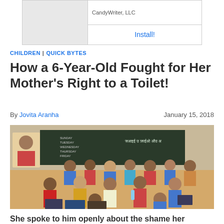[Figure (other): Advertisement banner with gray image placeholder on left, text 'CandyWriter, LLC' on top right, and 'Install!' link below]
CHILDREN | QUICK BYTES
How a 6-Year-Old Fought for Her Mother's Right to a Toilet!
By Jovita Aranha    January 15, 2018
[Figure (photo): Photograph of a classroom in India with many children sitting on the floor. A teacher or adult is visible on the upper left. A blackboard with Hindi and English text is visible in the background.]
She spoke to him openly about the shame her